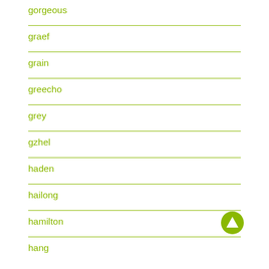gorgeous
graef
grain
greecho
grey
gzhel
haden
hailong
hamilton
hang